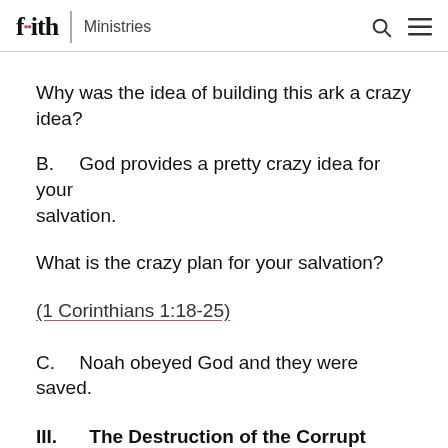faith Ministries
Why was the idea of building this ark a crazy idea?
B.      God provides a pretty crazy idea for your salvation.
What is the crazy plan for your salvation?
(1 Corinthians 1:18-25)
C.      Noah obeyed God and they were saved.
III.    The Destruction of the Corrupt (7:11-24)
A.      The promise was fulfilled and the flood...